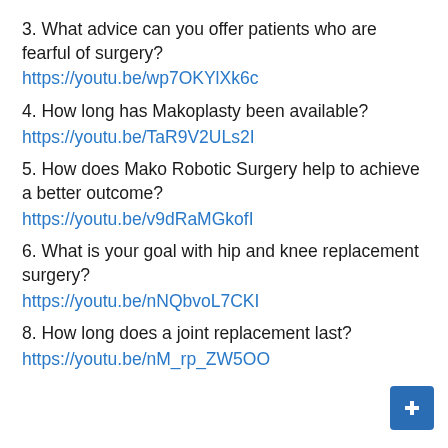3. What advice can you offer patients who are fearful of surgery?
https://youtu.be/wp7OKYlXk6c
4. How long has Makoplasty been available?
https://youtu.be/TaR9V2ULs2I
5. How does Mako Robotic Surgery help to achieve a better outcome?
https://youtu.be/v9dRaMGkofI
6. What is your goal with hip and knee replacement surgery?
https://youtu.be/nNQbvoL7CKI
8. How long does a joint replacement last?
https://youtu.be/nM_rp_ZW5OO